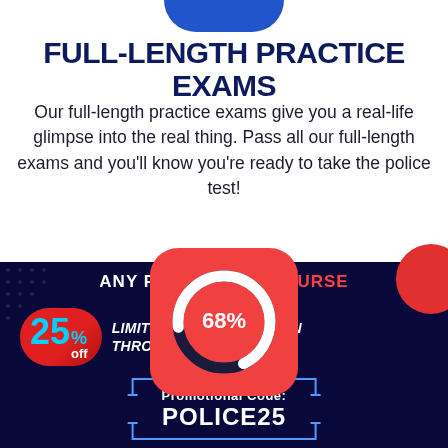FULL-LENGTH PRACTICE EXAMS
Our full-length practice exams give you a real-life glimpse into the real thing. Pass all our full-length exams and you'll know you're ready to take the police test!
[Figure (donut-chart): A circular donut/progress chart showing 68% on a red rounded-square background icon]
ANY REGISTERED COURSE
25% off LIMITED TIME PROMOTION THROUGH AUGUST 24-31
Promotional Code: POLICE25